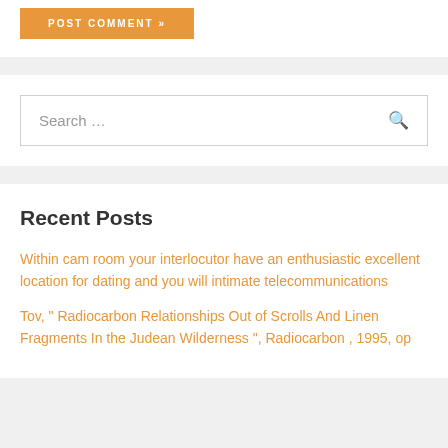[Figure (other): Orange POST COMMENT button]
Search ...
Recent Posts
Within cam room your interlocutor have an enthusiastic excellent location for dating and you will intimate telecommunications
Tov, " Radiocarbon Relationships Out of Scrolls And Linen Fragments In the Judean Wilderness ", Radiocarbon , 1995, op